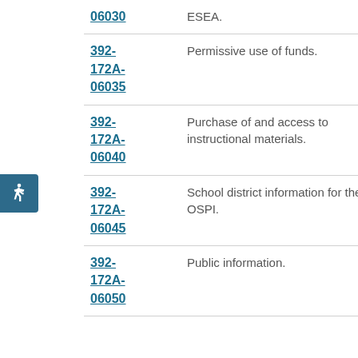| Code | Description |
| --- | --- |
| 06030 | ESEA. |
| 392-172A-06035 | Permissive use of funds. |
| 392-172A-06040 | Purchase of and access to instructional materials. |
| 392-172A-06045 | School district information for the OSPI. |
| 392-172A-06050 | Public information. |